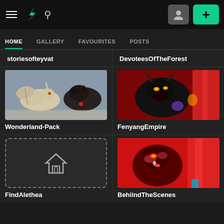DeviantArt navigation bar with hamburger menu, DA logo, search icon, profile button, and add (+) button
HOME | GALLERY | FAVOURITES | POSTS
storiesofteyvat
DevoteesOfTheForest
[Figure (illustration): Digital art of two fantasy creatures - a white dragon and a dark wolf-like creature]
Wonderland-Pack
[Figure (illustration): Dark reddish digital art of a menacing creature with glowing eyes on red background]
FenyangEmpire
[Figure (illustration): Dark background card with dashed border and a house icon placeholder]
FindAlethea
[Figure (illustration): Red-toned digital art of a demonic or monster character]
BehiindTheScenes